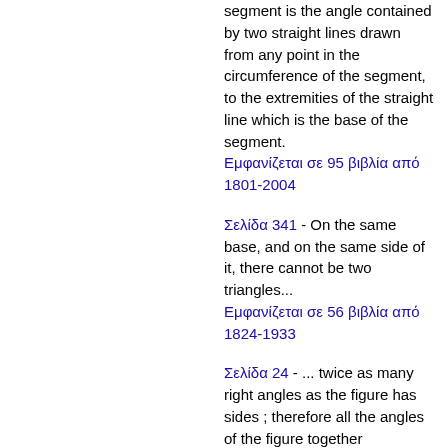segment is the angle contained by two straight lines drawn from any point in the circumference of the segment, to the extremities of the straight line which is the base of the segment.
Εμφανίζεται σε 95 βιβλία από 1801-2004
Σελίδα 341 - On the same base, and on the same side of it, there cannot be two triangles...
Εμφανίζεται σε 56 βιβλία από 1824-1933
Σελίδα 24 - ... twice as many right angles as the figure has sides ; therefore all the angles of the figure together